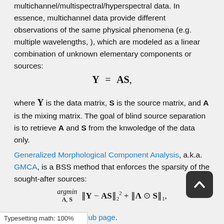multichannel/multispectral/hyperspectral data. In essence, multichannel data provide different observations of the same physical phenomena (e.g. multiple wavelengths, ), which are modeled as a linear combination of unknown elementary components or sources:
where Y is the data matrix, S is the source matrix, and A is the mixing matrix. The goal of blind source separation is to retrieve A and S from the knwoledge of the data only.
Generalized Morphological Component Analysis, a.k.a. GMCA, is a BSS method that enforces the sparsity of the sought-after sources:
Please check out the project's GitHub page.
Typesetting math: 100%